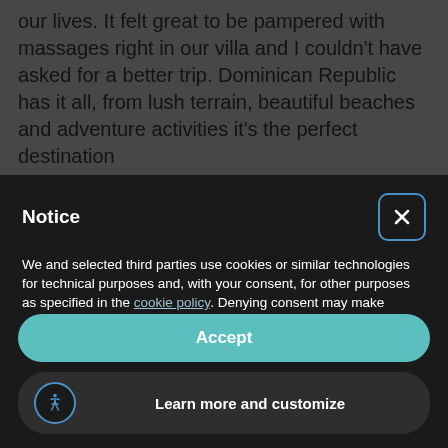our lives. It felt great to be pampered with massages right in our villa and I couldn't have asked for a better trip. Dominican Republic has it all, from lush terrain, beautiful beaches and adventure activities it's the perfect destination
Notice
We and selected third parties use cookies or similar technologies for technical purposes and, with your consent, for other purposes as specified in the cookie policy. Denying consent may make related features unavailable. You can consent to the use of such technologies by using the "Accept" button, by closing this notice, by scrolling this page, by interacting with any link or button outside of this notice or by continuing to browse otherwise.
Accept
Learn more and customize